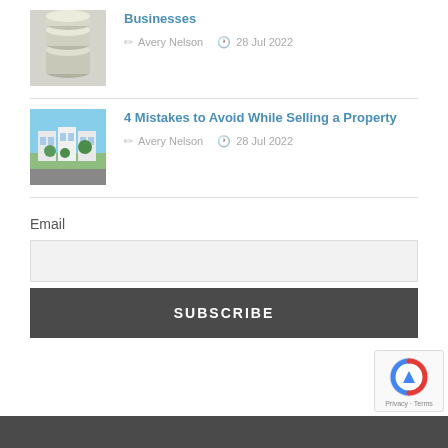[Figure (photo): Stack of coins thumbnail image]
Businesses
Avery Nelson  28 Jul 2022
[Figure (photo): Modern residential property with green trees and blue sky thumbnail]
4 Mistakes to Avoid While Selling a Property
Avery Nelson  28 Jul 2022
Email
SUBSCRIBE